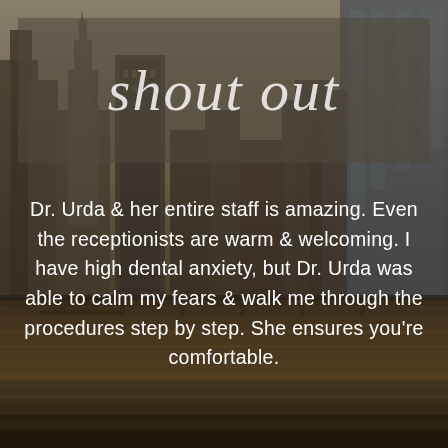[Figure (photo): City skyline with skyscrapers along a river at dusk/evening, warm amber and grey tones, with a boat on the river and a bridge visible]
shout out
Dr. Urda & her entire staff is amazing. Even the receptionists are warm & welcoming. I have high dental anxiety, but Dr. Urda was able to calm my fears & walk me through the procedures step by step. She ensures you're comfortable.